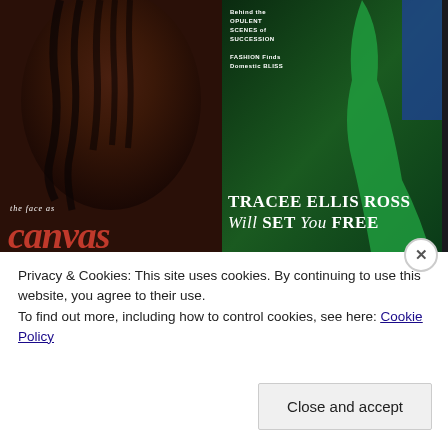[Figure (photo): Two magazine covers side by side. Left: close-up of a person with braids, 'the face as canvas' text in italic, large red italic text reading 'canvas'. Right: cover with green-dressed figure, text reading 'Behind the OPULENT SCENES of SUCCESSION', 'FASHION Finds Domestic BLISS', 'TRACEE ELLIS ROSS Will SET You FREE'.]
The fashion world remembers celebrity hairstylist LaTisha Chong
The Grio
Teilen mit:
Tweet
Share
Post
Privacy & Cookies: This site uses cookies. By continuing to use this website, you agree to their use.
To find out more, including how to control cookies, see here: Cookie Policy
Close and accept